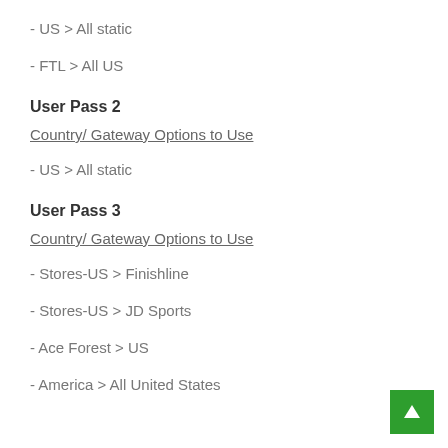- US > All static
- FTL > All US
User Pass 2
Country/ Gateway Options to Use
- US > All static
User Pass 3
Country/ Gateway Options to Use
- Stores-US > Finishline
- Stores-US > JD Sports
- Ace Forest > US
- America > All United States